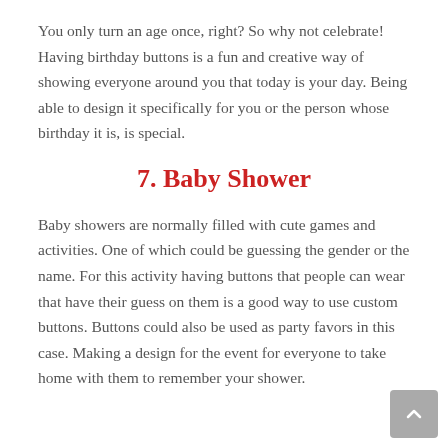You only turn an age once, right? So why not celebrate! Having birthday buttons is a fun and creative way of showing everyone around you that today is your day. Being able to design it specifically for you or the person whose birthday it is, is special.
7. Baby Shower
Baby showers are normally filled with cute games and activities. One of which could be guessing the gender or the name. For this activity having buttons that people can wear that have their guess on them is a good way to use custom buttons. Buttons could also be used as party favors in this case. Making a design for the event for everyone to take home with them to remember your shower.